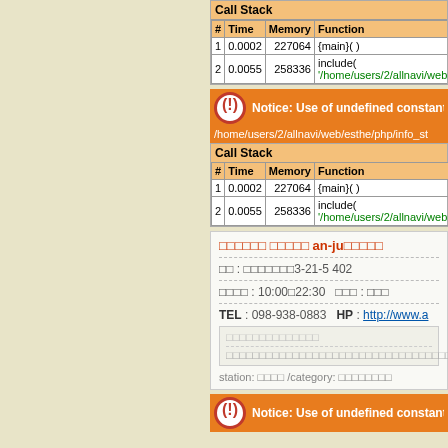| # | Time | Memory | Function |
| --- | --- | --- | --- |
| 1 | 0.0002 | 227064 | {main}( ) |
| 2 | 0.0055 | 258336 | include( '/home/users/2/allnavi/web... |
Notice: Use of undefined constant e
/home/users/2/allnavi/web/esthe/php/info_st
| # | Time | Memory | Function |
| --- | --- | --- | --- |
| 1 | 0.0002 | 227064 | {main}( ) |
| 2 | 0.0055 | 258336 | include( '/home/users/2/allnavi/web... |
an-ju shop info card
Address: 3-21-5 402
Hours: 10:00-22:30
TEL: 098-938-0883
HP: http://www.a...
station: / category:
Notice: Use of undefined constant